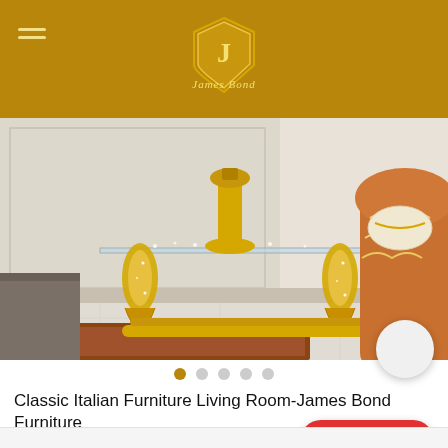James Bond Furniture logo and navigation header
[Figure (photo): Ornate gold and cream carved baroque-style glass-top coffee table with intricate scrollwork legs, with an elaborate red and gold upholstered armchair partially visible on the right side. Displayed on marble flooring with a decorative rug.]
Classic Italian Furniture Living Room-James Bond Furniture
| Brand Name | James Bond Furniture |
| --- | --- |
Product Name   Classic Italian Furniture Living Room-James Bond...